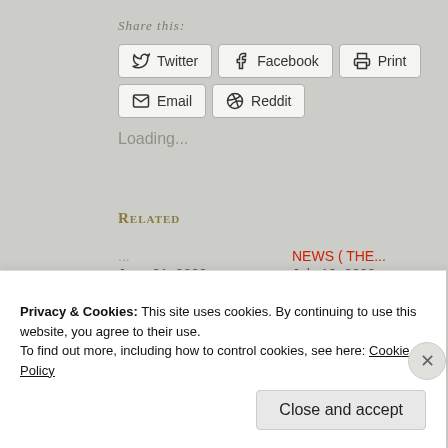Share this:
Twitter
Facebook
Print
Email
Reddit
Loading...
Related
...
June 21, 2022
In "NEWS"
NEWS ( THE...
July 12, 2022
In "NEWS"
...
Privacy & Cookies: This site uses cookies. By continuing to use this website, you agree to their use.
To find out more, including how to control cookies, see here: Cookie Policy
Close and accept